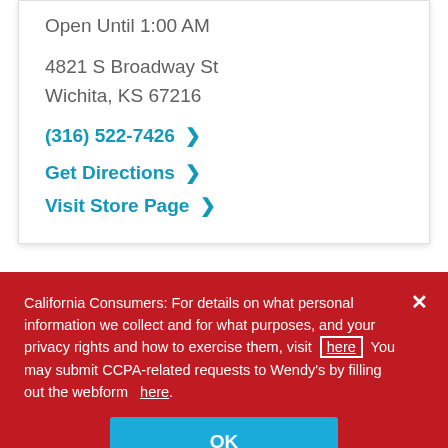Open Until 1:00 AM
4821 S Broadway St
Wichita, KS 67216
(316) 522-7426 >
Get Directions >
Visit Store Page >
California Consumers: For details on what personal information we collect and for what purposes, and your privacy rights and how to exercise them, visit here You may submit CCPA-related requests to Wendy's by filling out the webform here.
OK